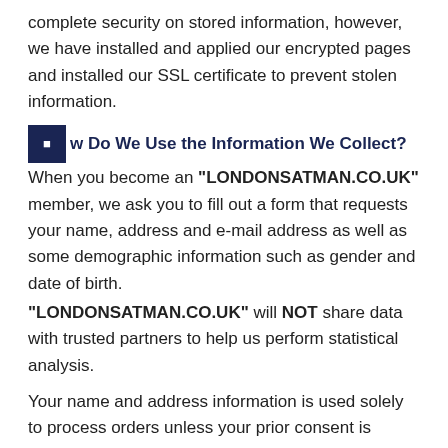complete security on stored information, however, we have installed and applied our encrypted pages and installed our SSL certificate to prevent stolen information.
How Do We Use the Information We Collect?
When you become an “LONDONSATMAN.CO.UK” member, we ask you to fill out a form that requests your name, address and e-mail address as well as some demographic information such as gender and date of birth.
“LONDONSATMAN.CO.UK” will NOT share data with trusted partners to help us perform statistical analysis.
Your name and address information is used solely to process orders unless your prior consent is given. Without your consent, this information will NEVER be sold, given, rented or traded to others for purposes other than order fulfillment.
Your demographic information (gender, date of birth, etc.) will be used for several security purposes, to ensure you are who you